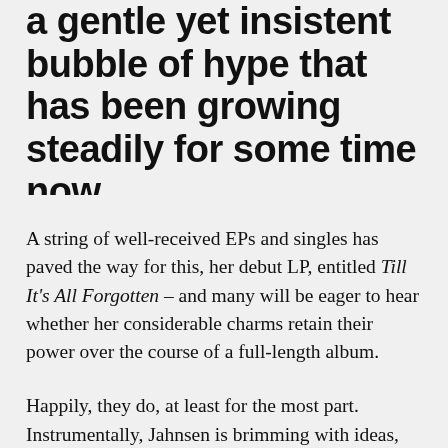a gentle yet insistent bubble of hype that has been growing steadily for some time now.
A string of well-received EPs and singles has paved the way for this, her debut LP, entitled Till It's All Forgotten – and many will be eager to hear whether her considerable charms retain their power over the course of a full-length album.
Happily, they do, at least for the most part. Instrumentally, Jahnsen is brimming with ideas, and the duration of this LP allows the